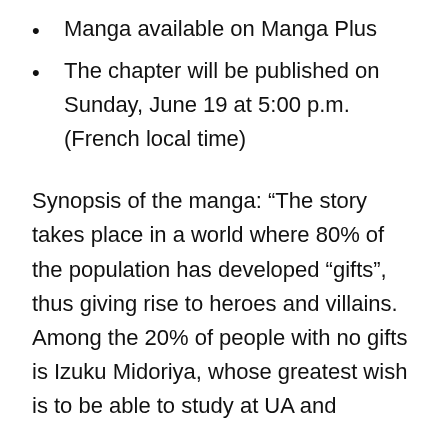Manga available on Manga Plus
The chapter will be published on Sunday, June 19 at 5:00 p.m. (French local time)
Synopsis of the manga: “The story takes place in a world where 80% of the population has developed “gifts”, thus giving rise to heroes and villains. Among the 20% of people with no gifts is Izuku Midoriya, whose greatest wish is to be able to study at UA and